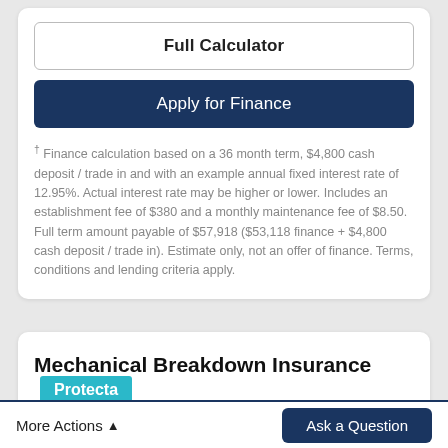Full Calculator
Apply for Finance
† Finance calculation based on a 36 month term, $4,800 cash deposit / trade in and with an example annual fixed interest rate of 12.95%. Actual interest rate may be higher or lower. Includes an establishment fee of $380 and a monthly maintenance fee of $8.50. Full term amount payable of $57,918 ($53,118 finance + $4,800 cash deposit / trade in). Estimate only, not an offer of finance. Terms, conditions and lending criteria apply.
Mechanical Breakdown Insurance Protecta
More Actions
Ask a Question